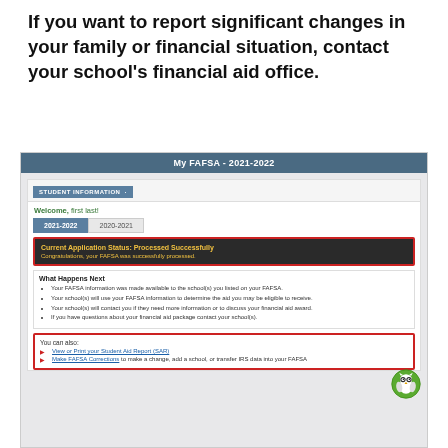If you want to report significant changes in your family or financial situation, contact your school's financial aid office.
[Figure (screenshot): Screenshot of the FAFSA website showing 'My FAFSA - 2021-2022' page with Student Information panel. Shows a Welcome message for 'first last', year tabs for 2021-2022 (active) and 2020-2021. Current Application Status shows 'Processed Successfully' in yellow text on dark background with red border. 'What Happens Next' section with bullet points about FAFSA information. Below that a 'You can also:' section with links, outlined in red. An owl logo is visible in the bottom right.]